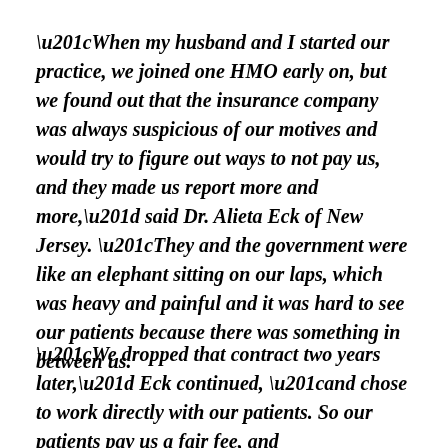“When my husband and I started our practice, we joined one HMO early on, but we found out that the insurance company was always suspicious of our motives and would try to figure out ways to not pay us, and they made us report more and more,” said Dr. Alieta Eck of New Jersey. “They and the government were like an elephant sitting on our laps, which was heavy and painful and it was hard to see our patients because there was something in between us.
“We dropped that contract two years later,” Eck continued, “and chose to work directly with our patients. So our patients pay us a fair fee, and